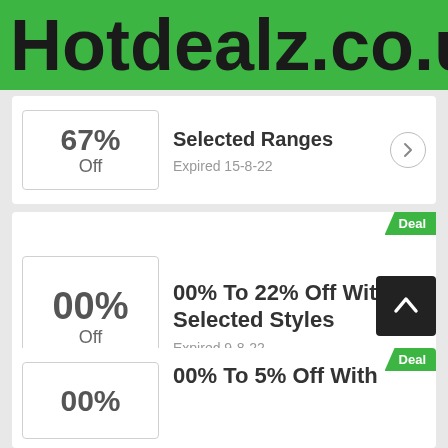Hotdealz.co.uk
67% Off — Selected Ranges — Expired 15-8-22
Deal — 00% To 22% Off With Selected Styles — Expired 9-8-22
Deal — 00% To 5% Off With